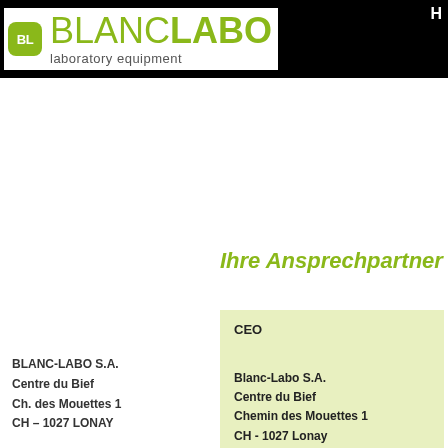[Figure (logo): Blanc-Labo laboratory equipment logo with green BL icon and company name]
Ihre Ansprechpartner
BLANC-LABO S.A.
Centre du Bief
Ch. des Mouettes 1
CH – 1027 LONAY
| CEO |
| Blanc-Labo S.A. |
| Centre du Bief |
| Chemin des Mouettes 1 |
| CH - 1027 Lonay |
| Telephon: +41 (0) 21 804 18 55 |